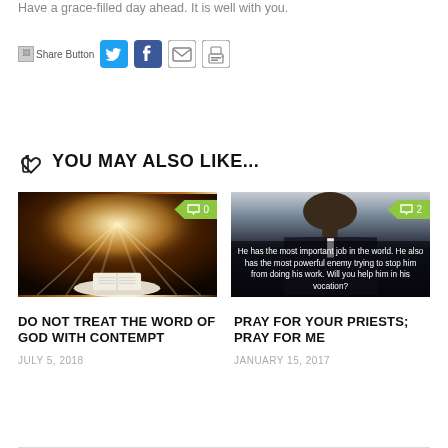Have a grace-filled day ahead. It is well with you.
[Figure (screenshot): Share bar with broken Share Button image and social icons: Twitter bird, Facebook f, envelope, printer]
YOU MAY ALSO LIKE...
[Figure (photo): Open Bible with rays of light shining down, dark background, comment badge showing 0]
[Figure (photo): Priest with white collar, text overlay: He has the most important job in the world. He also has the most powerful enemy trying to stop him from doing his work. Will you help him in his vocation? Comment badge showing 2]
DO NOT TREAT THE WORD OF GOD WITH CONTEMPT
PRAY FOR YOUR PRIESTS; PRAY FOR ME
JULY 5, 2018
JANUARY 15, 2017